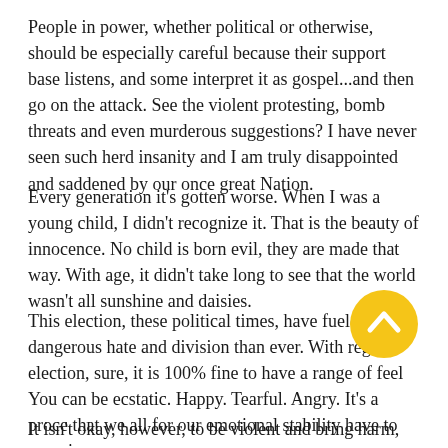People in power, whether political or otherwise, should be especially careful because their support base listens, and some interpret it as gospel...and then go on the attack. See the violent protesting, bomb threats and even murderous suggestions? I have never seen such herd insanity and I am truly disappointed and saddened by our once great Nation.
Every generation it's gotten worse. When I was a young child, I didn't recognize it. That is the beauty of innocence. No child is born evil, they are made that way. With age, it didn't take long to see that the world wasn't all sunshine and daisies.
This election, these political times, have fueled more dangerous hate and division than ever. With regards election, sure, it is 100% fine to have a range of feel You can be ecstatic. Happy. Tearful. Angry. It's a proce that we all for our emotional stability have to experience.
[Figure (other): Yellow circular button with upward-pointing chevron arrow icon]
It isn't okay, however, to be violent and bring harm,